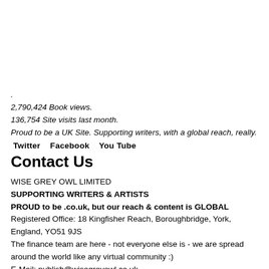.
2,790,424 Book views.
136,754 Site visits last month.
Proud to be a UK Site. Supporting writers, with a global reach, really.
Twitter   Facebook   You Tube
Contact Us
WISE GREY OWL LIMITED
SUPPORTING WRITERS & ARTISTS
PROUD to be .co.uk, but our reach & content is GLOBAL
Registered Office: 18 Kingfisher Reach, Boroughbridge, York, England, YO51 9JS
The finance team are here - not everyone else is - we are spread around the world like any virtual community :)
E-Mail: publish@wisegreyowl.co.uk
Web: www.wisegreyowl.co.uk